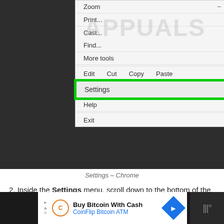[Figure (screenshot): Chrome browser menu dropdown showing options: Zoom (110%), Print (Ctrl+P), Cast, Find (Ctrl+F), More tools, Edit/Cut/Copy/Paste row, Settings (highlighted with green border), Help, Exit (Ctrl+Shift+Q). An APPUALS watermark appears over the screenshot.]
Settings – Chrome
2. Inside the Settings menu, scroll down to the bottom of the screen and click Advanced.
[Figure (screenshot): Advertisement bar: Buy Bitcoin With Cash – CoinFlip Bitcoin ATM]